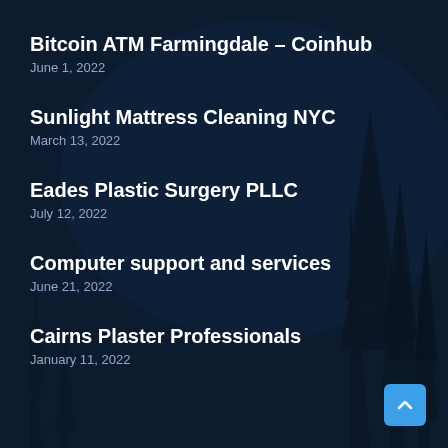Bitcoin ATM Farmingdale – Coinhub
June 1, 2022
Sunlight Mattress Cleaning NYC
March 13, 2022
Eades Plastic Surgery PLLC
July 12, 2022
Computer support and services
June 21, 2022
Cairns Plaster Professionals
January 11, 2022